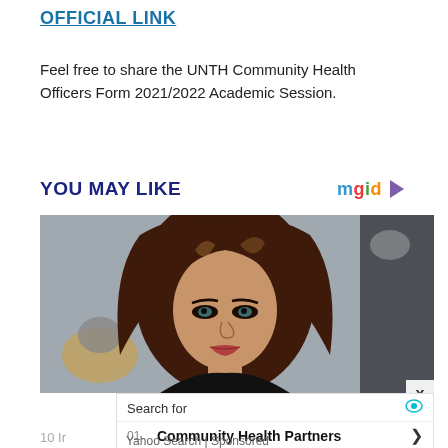OFFICIAL LINK
Feel free to share the UNTH Community Health Officers Form 2021/2022 Academic Session.
YOU MAY LIKE
[Figure (photo): Photo of a young woman with long brown hair, looking toward the camera, in a stylized indoor setting with soft lighting.]
X
Search for
01.  Community Health Partners
02.  Community Health Choice
Yahoo Search | Sponsored